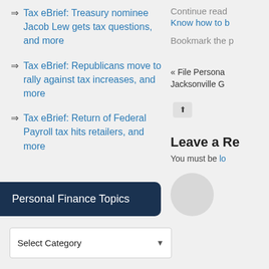Tax eBrief: Treasury nominee Jacob Lew gets tax questions, and more
Tax eBrief: Republicans move to rally against tax increases, and more
Tax eBrief: Return of Federal Payroll tax hits retailers, and more
Personal Finance Topics
Select Category
Continue read
Know how to b
Bookmark the p
« File Persona
Jacksonville G
Leave a Re
You must be lo